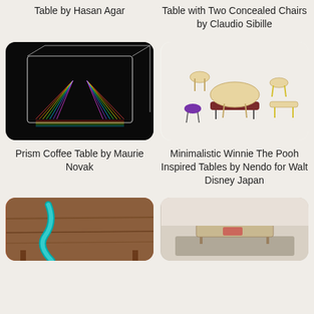Table by Hasan Agar
Table with Two Concealed Chairs by Claudio Sibille
[Figure (photo): Prism coffee table with colorful light string art on black background, viewed in perspective, resembling a 3D prism shape with rainbow-colored strings]
[Figure (photo): Minimalistic wooden furniture set including small stools and tables in light maple wood with colored accents (purple, yellow, dark red), arranged as a collection on white background]
Prism Coffee Table by Maurie Novak
Minimalistic Winnie The Pooh Inspired Tables by Nendo for Walt Disney Japan
[Figure (photo): Wooden coffee table with turquoise blue resin river running through the center, showing natural wood grain texture]
[Figure (photo): Low modern coffee table on a rug in a minimalist room setting with light-colored walls]